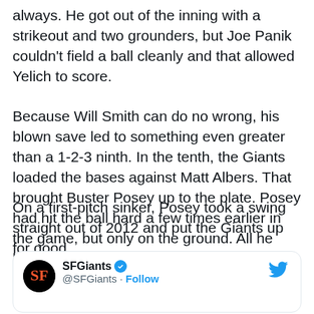always. He got out of the inning with a strikeout and two grounders, but Joe Panik couldn't field a ball cleanly and that allowed Yelich to score.
Because Will Smith can do no wrong, his blown save led to something even greater than a 1-2-3 ninth. In the tenth, the Giants loaded the bases against Matt Albers. That brought Buster Posey up to the plate. Posey had hit the ball hard a few times earlier in the game, but only on the ground. All he had to show for the night was a single that got through the infield.
On a first-pitch sinker, Posey took a swing straight out of 2012 and put the Giants up for good.
[Figure (screenshot): Twitter/X embed card showing SFGiants account with verified badge and Follow button]